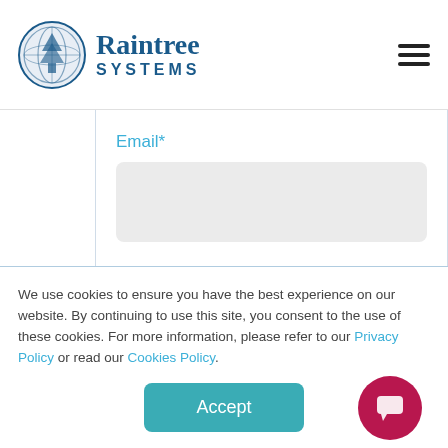Raintree SYSTEMS
Email*
Website
We use cookies to ensure you have the best experience on our website. By continuing to use this site, you consent to the use of these cookies. For more information, please refer to our Privacy Policy or read our Cookies Policy.
Accept